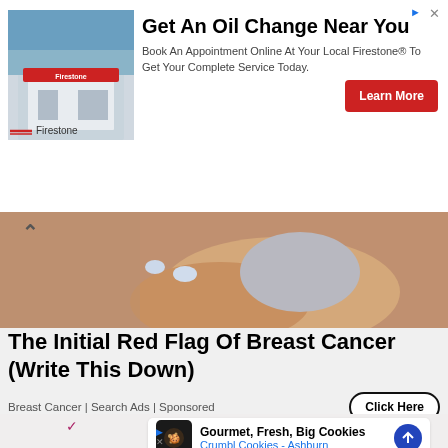[Figure (screenshot): Advertisement banner for Firestone oil change service with store photo, headline, body text, and Learn More button]
[Figure (photo): Close-up photo of a woman's hands touching a brown surface (breast cancer awareness article thumbnail) with a chevron-up icon overlay]
The Initial Red Flag Of Breast Cancer (Write This Down)
Breast Cancer | Search Ads | Sponsored
[Figure (screenshot): Bottom section showing another advertisement card for Crumbl Cookies - Ashburn with Gourmet, Fresh, Big Cookies tagline, cookie icon, and navigation arrow icon]